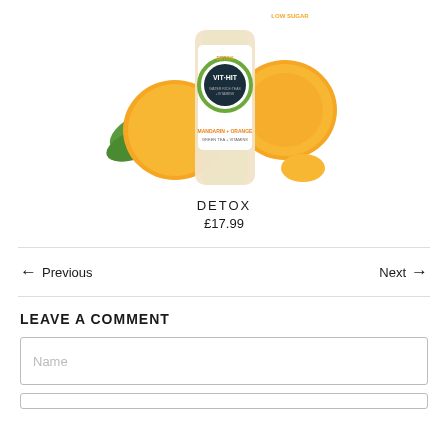[Figure (photo): Vit-Hit Detox Mandarin + Orange Green Tea + Vitamins drink bottle with oranges in the background]
DETOX
£17.99
← Previous
Next →
LEAVE A COMMENT
Name